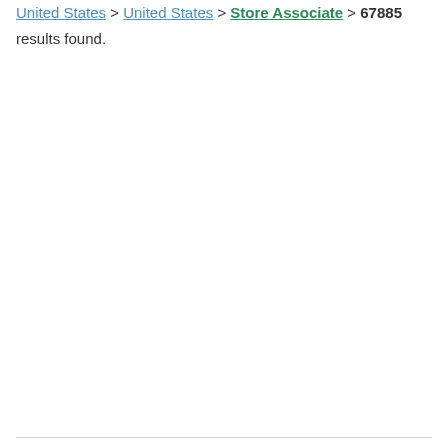United States > United States > Store Associate > 67885 results found.